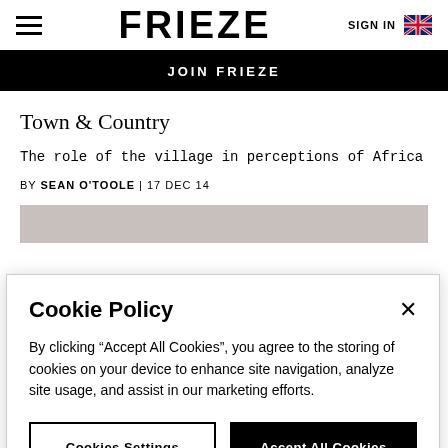FRIEZE | SIGN IN
JOIN FRIEZE
Town & Country
The role of the village in perceptions of Africa
BY SEAN O'TOOLE | 17 DEC 14
[Figure (other): Grey image placeholder for article photo]
Cookie Policy
By clicking "Accept All Cookies", you agree to the storing of cookies on your device to enhance site navigation, analyze site usage, and assist in our marketing efforts.
Cookies Settings | Accept All Cookies